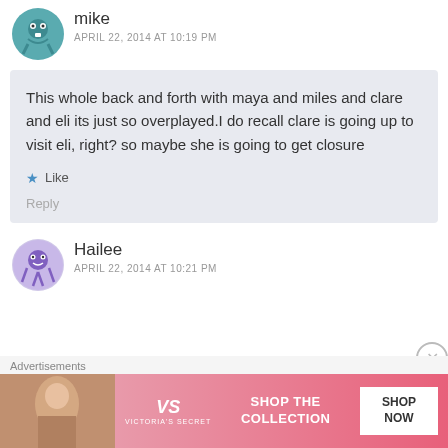mike
APRIL 22, 2014 AT 10:19 PM
This whole back and forth with maya and miles and clare and eli its just so overplayed.I do recall clare is going up to visit eli, right? so maybe she is going to get closure
Like
Reply
Hailee
APRIL 22, 2014 AT 10:21 PM
Advertisements
[Figure (other): Victoria's Secret advertisement banner with model photo, VS logo, 'SHOP THE COLLECTION' text, and 'SHOP NOW' button]